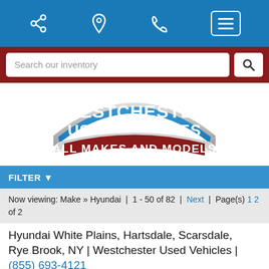[Figure (screenshot): Mobile website navigation bar with share, location, phone, and menu icons on blue background]
[Figure (screenshot): Search bar with 'Search our inventory' placeholder text and search button on dark red background]
[Figure (logo): Westchester Used Vehicles logo - blue arc badge with white text 'WESTCHESTER USED VEHICLES' and banner reading 'ALL MAKES AND MODELS' in dark red]
FILTER
Now viewing: Make » Hyundai | 1 - 50 of 82 | Next | Page(s) 1 2 of 2
Hyundai White Plains, Hartsdale, Scarsdale, Rye Brook, NY | Westchester Used Vehicles | (855) 693-4121